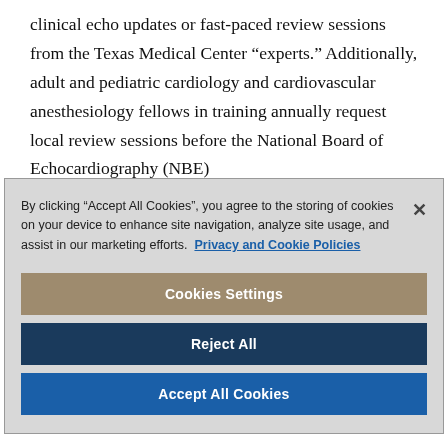clinical echo updates or fast-paced review sessions from the Texas Medical Center “experts.” Additionally, adult and pediatric cardiology and cardiovascular anesthesiology fellows in training annually request local review sessions before the National Board of Echocardiography (NBE)
By clicking “Accept All Cookies”, you agree to the storing of cookies on your device to enhance site navigation, analyze site usage, and assist in our marketing efforts. Privacy and Cookie Policies
Cookies Settings
Reject All
Accept All Cookies